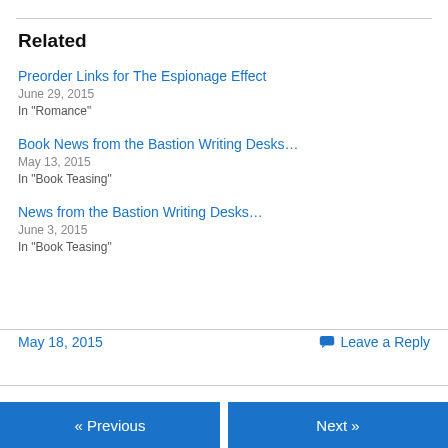Related
Preorder Links for The Espionage Effect
June 29, 2015
In "Romance"
Book News from the Bastion Writing Desks…
May 13, 2015
In "Book Teasing"
News from the Bastion Writing Desks…
June 3, 2015
In "Book Teasing"
May 18, 2015
Leave a Reply
« Previous   Next »